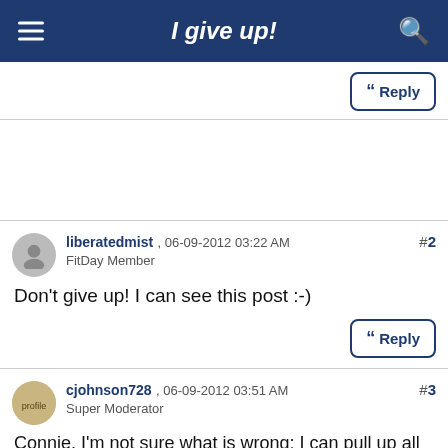I give up!
Reply
liberatedmist , 06-09-2012 03:22 AM
FitDay Member
Don't give up! I can see this post :-)
Reply
cjohnson728 , 06-09-2012 03:51 AM
Super Moderator
Connie, I'm not sure what is wrong; I can pull up all your posts and see where people have responded to you, and you responded back (on the Atkins thread, I think). When you hit